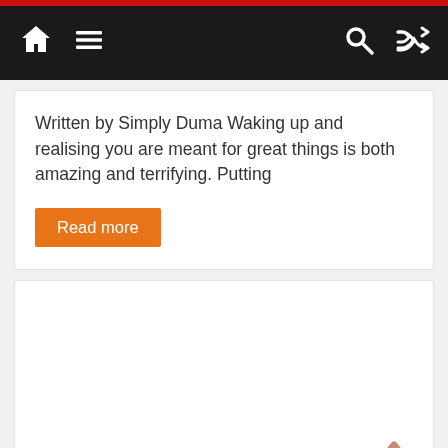Navigation bar with home, menu, search, and shuffle icons
Written by Simply Duma Waking up and realising you are meant for great things is both amazing and terrifying. Putting
Read more
[Figure (screenshot): Empty white card section below the article excerpt, with a salmon/pink back-to-top chevron arrow in the bottom right corner]